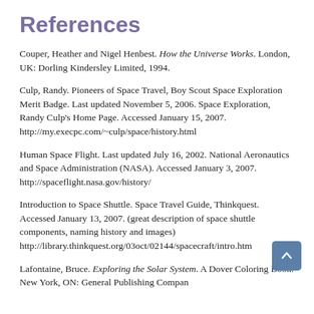References
Couper, Heather and Nigel Henbest. How the Universe Works. London, UK: Dorling Kindersley Limited, 1994.
Culp, Randy. Pioneers of Space Travel, Boy Scout Space Exploration Merit Badge. Last updated November 5, 2006. Space Exploration, Randy Culp's Home Page. Accessed January 15, 2007. http://my.execpc.com/~culp/space/history.html
Human Space Flight. Last updated July 16, 2002. National Aeronautics and Space Administration (NASA). Accessed January 3, 2007. http://spaceflight.nasa.gov/history/
Introduction to Space Shuttle. Space Travel Guide, Thinkquest. Accessed January 13, 2007. (great description of space shuttle components, naming history and images) http://library.thinkquest.org/03oct/02144/spacecraft/intro.htm
Lafontaine, Bruce. Exploring the Solar System. A Dover Coloring Book. New York, ON: General Publishing Compan